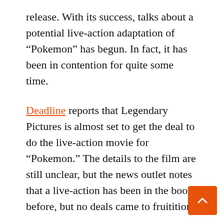release. With its success, talks about a potential live-action adaptation of “Pokemon” has begun. In fact, it has been in contention for quite some time.
Deadline reports that Legendary Pictures is almost set to get the deal to do the live-action movie for “Pokemon.” The details to the film are still unclear, but the news outlet notes that a live-action has been in the books before, but no deals came to fruitition.
“Pokemon” started off a video game that has been popular in Japan for over 20 years. This popularity picked up worldwide and has spawn different iterations including an animated series